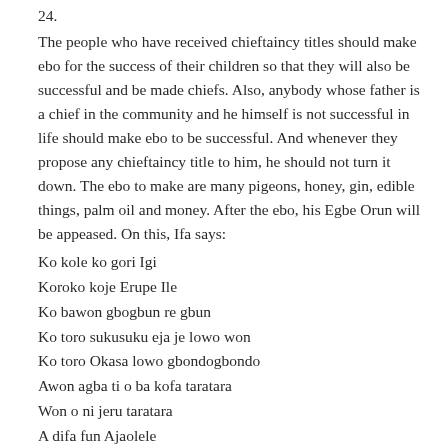24.
The people who have received chieftaincy titles should make ebo for the success of their children so that they will also be successful and be made chiefs. Also, anybody whose father is a chief in the community and he himself is not successful in life should make ebo to be successful. And whenever they propose any chieftaincy title to him, he should not turn it down. The ebo to make are many pigeons, honey, gin, edible things, palm oil and money. After the ebo, his Egbe Orun will be appeased. On this, Ifa says:
Ko kole ko gori Igi
Koroko koje Erupe Ile
Ko bawon gbogbun re gbun
Ko toro sukusuku eja je lowo won
Ko toro Okasa lowo gbondogbondo
Awon agba ti o ba kofa taratara
Won o ni jeru taratara
A difa fun Ajaolele
To n sawo rode Oro